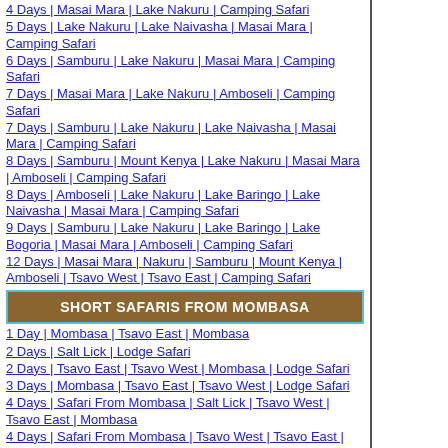4 Days | Masai Mara | Lake Nakuru | Camping Safari
5 Days | Lake Nakuru | Lake Naivasha | Masai Mara | Camping Safari
6 Days | Samburu | Lake Nakuru | Masai Mara | Camping Safari
7 Days | Masai Mara | Lake Nakuru | Amboseli | Camping Safari
7 Days | Samburu | Lake Nakuru | Lake Naivasha | Masai Mara | Camping Safari
8 Days | Samburu | Mount Kenya | Lake Nakuru | Masai Mara | Amboseli | Camping Safari
8 Days | Amboseli | Lake Nakuru | Lake Baringo | Lake Naivasha | Masai Mara | Camping Safari
9 Days | Samburu | Lake Nakuru | Lake Baringo | Lake Bogoria | Masai Mara | Amboseli | Camping Safari
12 Days | Masai Mara | Nakuru | Samburu | Mount Kenya | Amboseli | Tsavo West | Tsavo East | Camping Safari
SHORT SAFARIS FROM MOMBASA
1 Day | Mombasa | Tsavo East | Mombasa
2 Days | Salt Lick | Lodge Safari
2 Days | Tsavo East | Tsavo West | Mombasa | Lodge Safari
3 Days | Mombasa | Tsavo East | Tsavo West | Lodge Safari
4 Days | Safari From Mombasa | Salt Lick | Tsavo West | Tsavo East | Mombasa
4 Days | Safari From Mombasa | Tsavo West | Tsavo East | Amboseli | Mombasa